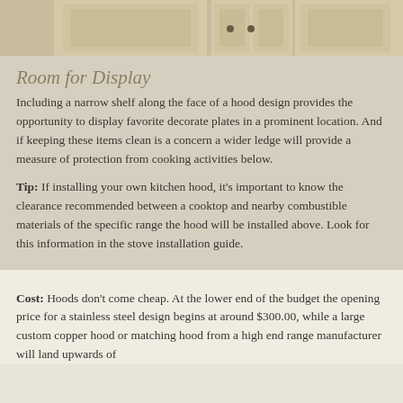[Figure (photo): Top portion of cream/beige painted kitchen cabinets with raised panel doors and dark hardware knobs]
Room for Display
Including a narrow shelf along the face of a hood design provides the opportunity to display favorite decorate plates in a prominent location. And if keeping these items clean is a concern a wider ledge will provide a measure of protection from cooking activities below.
Tip: If installing your own kitchen hood, it’s important to know the clearance recommended between a cooktop and nearby combustible materials of the specific range the hood will be installed above. Look for this information in the stove installation guide.
Cost: Hoods don’t come cheap. At the lower end of the budget the opening price for a stainless steel design begins at around $300.00, while a large custom copper hood or matching hood from a high end range manufacturer will land upwards of